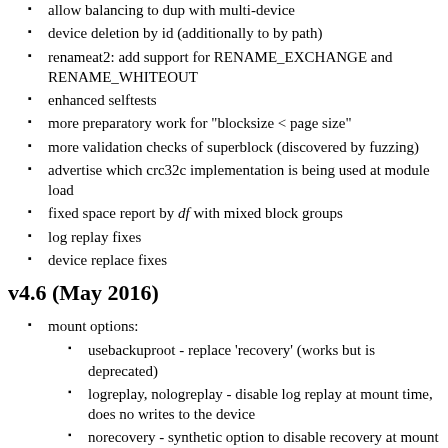allow balancing to dup with multi-device
device deletion by id (additionally to by path)
renameat2: add support for RENAME_EXCHANGE and RENAME_WHITEOUT
enhanced selftests
more preparatory work for "blocksize < page size"
more validation checks of superblock (discovered by fuzzing)
advertise which crc32c implementation is being used at module load
fixed space report by df with mixed block groups
log replay fixes
device replace fixes
v4.6 (May 2016)
mount options:
usebackuproot - replace 'recovery' (works but is deprecated)
logreplay, nologreplay - disable log replay at mount time, does no writes to the device
norecovery - synthetic option to disable recovery at mount time and disable writes (now does: nologreplay)
default inline limit is now 2048 (instead of page size, usually 4096)
/dev/btrfs-control now understands the